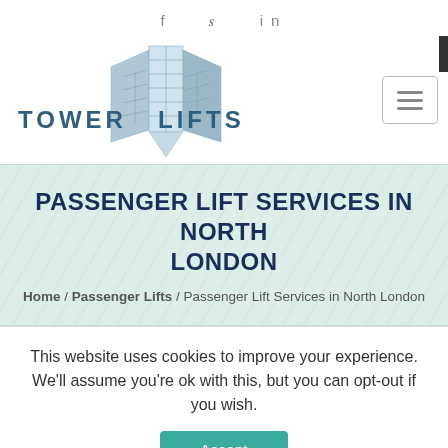f  y  in
[Figure (logo): Tower Lifts logo with building graphic and text TOWER LIFTS]
PASSENGER LIFT SERVICES IN NORTH LONDON
Home / Passenger Lifts / Passenger Lift Services in North London
This website uses cookies to improve your experience. We'll assume you're ok with this, but you can opt-out if you wish.
Accept